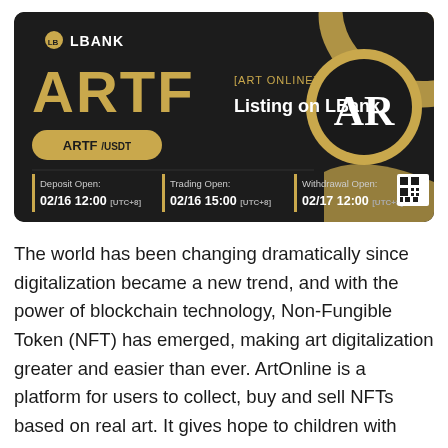[Figure (infographic): LBank exchange listing announcement banner for ARTF (Art Online) token. Dark background with gold accents. Shows LBANK logo, ARTF token name, 'Listing on LBank' text, ARTF/USDT trading pair button, and schedule: Deposit Open 02/16 12:00 UTC+8, Trading Open 02/16 15:00 UTC+8, Withdrawal Open 02/17 12:00 UTC+8. AR logo in gold circle on right side. QR code in bottom right.]
The world has been changing dramatically since digitalization became a new trend, and with the power of blockchain technology, Non-Fungible Token (NFT) has emerged, making art digitalization greater and easier than ever. ArtOnline is a platform for users to collect, buy and sell NFTs based on real art. It gives hope to children with developmental disabilities around the world by turning their art into NFTs, and plans to